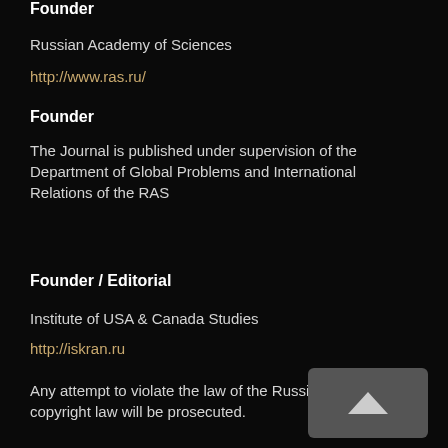Founder
Russian Academy of Sciences
http://www.ras.ru/
Founder
The Journal is published under supervision of the Department of Global Problems and International Relations of the RAS
Founder / Editorial
Institute of USA & Canada Studies
http://iskran.ru
Any attempt to violate the law of the Russian copyright law will be prosecuted.